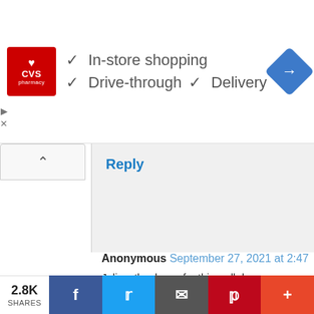[Figure (screenshot): CVS Pharmacy advertisement banner showing logo and store features: In-store shopping, Drive-through, Delivery with checkmarks and navigation icon]
Reply
Anonymous September 27, 2021 at 2:47
Julius, thank you for this well documented, Strong, and convincing piece which is in I've found in the last 18 months. Almost that this clearly thought out reasoning has main stream media. Perhaps only broade I also think COVID is but a convenient s
2.8K SHARES